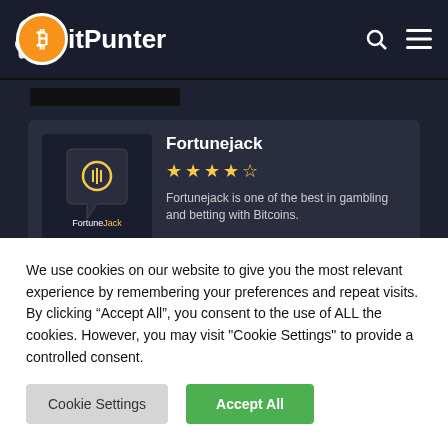BitPunter
Fortunejack
Fortunejack is one of the best in gambling and betting with Bitcoins.
Bitcoin Betting Sites
We use cookies on our website to give you the most relevant experience by remembering your preferences and repeat visits. By clicking “Accept All”, you consent to the use of ALL the cookies. However, you may visit "Cookie Settings" to provide a controlled consent.